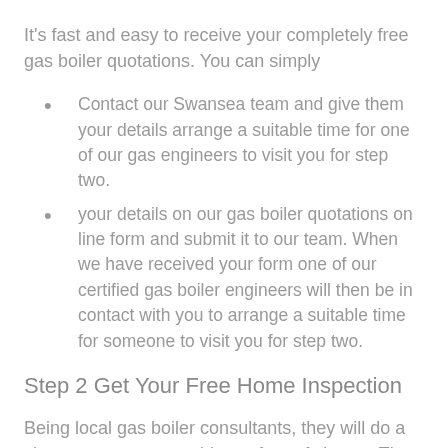It's fast and easy to receive your completely free gas boiler quotations. You can simply
Contact our Swansea team and give them your details arrange a suitable time for one of our gas engineers to visit you for step two.
your details on our gas boiler quotations on line form and submit it to our team. When we have received your form one of our  certified gas boiler engineers will then be in contact with you to arrange a suitable time for someone to visit you for step two.
Step 2 Get Your Free Home Inspection
Being local gas boiler consultants, they will do a site survey at your residence free of charge. The surveyor will